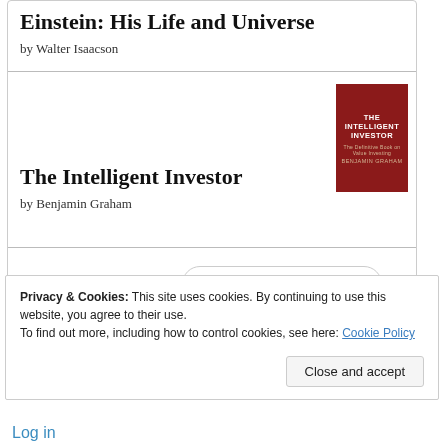Einstein: His Life and Universe
by Walter Isaacson
The Intelligent Investor
[Figure (illustration): Book cover of The Intelligent Investor — red cover with white text]
by Benjamin Graham
[Figure (logo): Goodreads logo in a rounded pill/oval border]
Privacy & Cookies: This site uses cookies. By continuing to use this website, you agree to their use.
To find out more, including how to control cookies, see here: Cookie Policy
Close and accept
Log in